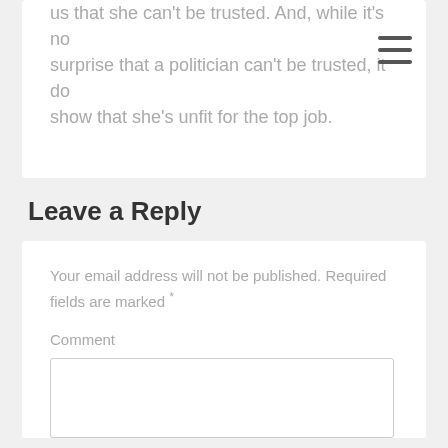us that she can't be trusted. And, while it's no surprise that a politician can't be trusted, it does show that she's unfit for the top job.
Leave a Reply
Your email address will not be published. Required fields are marked *
Comment